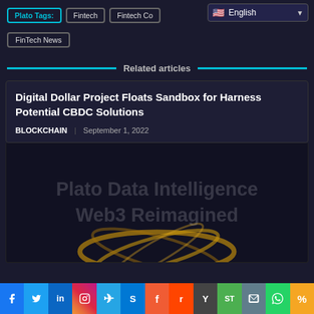Plato Tags: Fintech | Fintech Co... | English
FinTech News
Related articles
Digital Dollar Project Floats Sandbox for Harness Potential CBDC Solutions
BLOCKCHAIN | September 1, 2022
[Figure (illustration): Plato Data Intelligence Web3 Reimagined watermark with decorative golden rings/ornament at bottom]
Social share bar: Facebook, Twitter, LinkedIn, Instagram, Telegram, Skype, Flipboard, Reddit, Yahoo, ShareThis, Mail, WhatsApp, Link